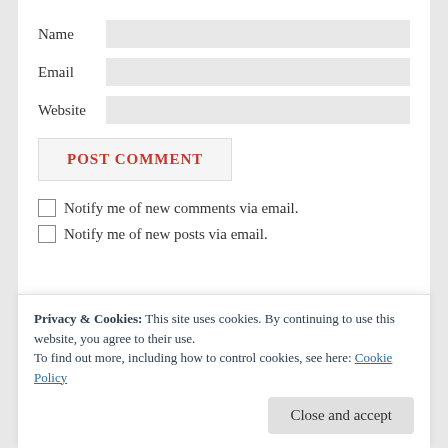Name
Email
Website
POST COMMENT
Notify me of new comments via email.
Notify me of new posts via email.
Privacy & Cookies: This site uses cookies. By continuing to use this website, you agree to their use.
To find out more, including how to control cookies, see here: Cookie Policy
Close and accept